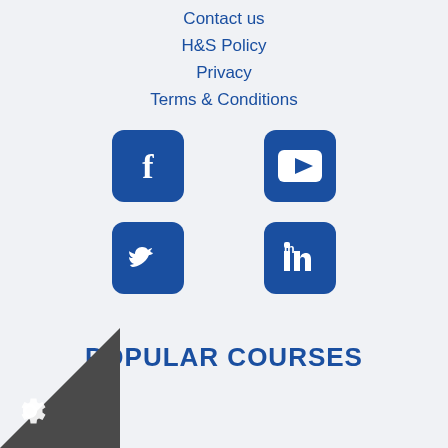Contact us
H&S Policy
Privacy
Terms & Conditions
[Figure (illustration): Four social media icons in a 2x2 grid: Facebook (top-left), YouTube (top-right), Twitter (bottom-left), LinkedIn (bottom-right). All icons are white on dark blue rounded square backgrounds.]
POPULAR COURSES
[Figure (logo): Dark grey triangle in bottom-left corner with a white gear/cog icon]